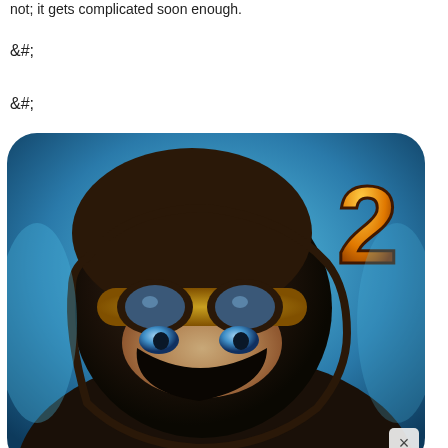not; it gets complicated soon enough.
&#;
&#;
[Figure (screenshot): Game app icon for a ninja/stealth game sequel (number 2), showing a cartoon ninja character with blue goggles and blue eyes wearing a dark hood, with an orange '2' in the top right corner, on a blue metallic background with rounded corners. A close/dismiss button (×) appears in the bottom right corner of the overlay.]